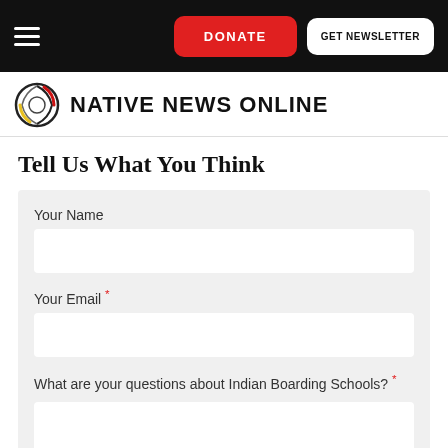DONATE | GET NEWSLETTER
[Figure (logo): Native News Online logo with circular emblem and bold uppercase text]
Tell Us What You Think
Your Name
Your Email *
What are your questions about Indian Boarding Schools? *